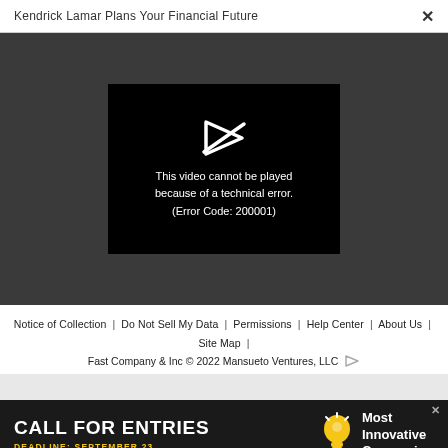Kendrick Lamar Plans Your Financial Future  ×
[Figure (screenshot): Video player showing error message on black background: 'This video cannot be played because of a technical error. (Error Code: 200001)' with a broken play icon above the text, on a dark gray background.]
Notice of Collection | Do Not Sell My Data | Permissions | Help Center | About Us | Site Map | Fast Company & Inc © 2022 Mansueto Ventures, LLC
[Figure (infographic): Advertisement banner: 'CALL FOR ENTRIES DEADLINE: SEPTEMBER 23' with lightbulb icon and 'Most Innovative Companies' text on dark background.]